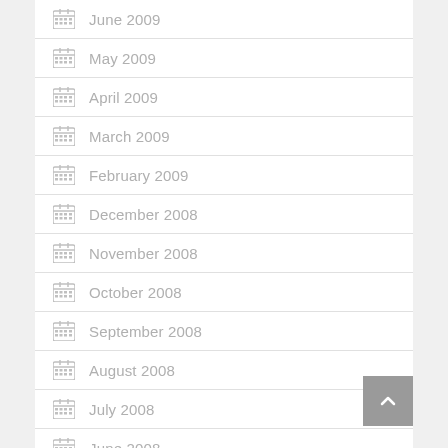June 2009
May 2009
April 2009
March 2009
February 2009
December 2008
November 2008
October 2008
September 2008
August 2008
July 2008
June 2008